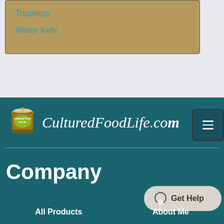Toppings
Water Kefir
[Figure (logo): CulturedFoodLife.com logo with mason jar icon and script text]
[Figure (other): Hamburger menu button (three horizontal lines) in dark teal rounded square]
Company
[Figure (other): Get Help chat button with speech bubble icon]
All Products
About Me